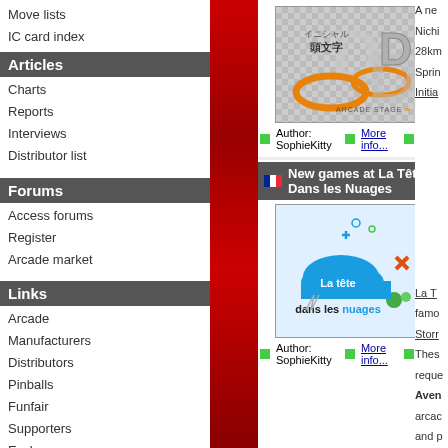Move lists
IC card index
Articles
Charts
Reports
Interviews
Distributor list
Forums
Access forums
Register
Arcade market
Links
Arcade
Manufacturers
Distributors
Pinballs
Funfair
Supporters
Exchange
[Figure (logo): Initial D Arcade Stage 8 Infinity logo]
Author: SophieKitty  More info...  Perm
New games at La Tête Dans les Nuages
[Figure (logo): La tête dans les nuages arcade logo - blue cloud with text]
Author: SophieKitty  More info...  Perm